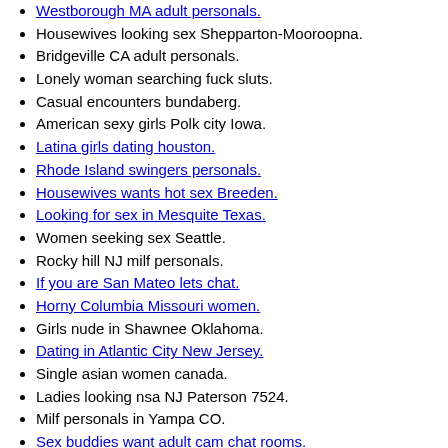Westborough MA adult personals.
Housewives looking sex Shepparton-Mooroopna.
Bridgeville CA adult personals.
Lonely woman searching fuck sluts.
Casual encounters bundaberg.
American sexy girls Polk city Iowa.
Latina girls dating houston.
Rhode Island swingers personals.
Housewives wants hot sex Breeden.
Looking for sex in Mesquite Texas.
Women seeking sex Seattle.
Rocky hill NJ milf personals.
If you are San Mateo lets chat.
Horny Columbia Missouri women.
Girls nude in Shawnee Oklahoma.
Dating in Atlantic City New Jersey.
Single asian women canada.
Ladies looking nsa NJ Paterson 7524.
Milf personals in Yampa CO.
Sex buddies want adult cam chat rooms.
Dorchester-NE woman seeking couple.
Fuck buddy Sudbury.
Bloomsburg fuck buddys